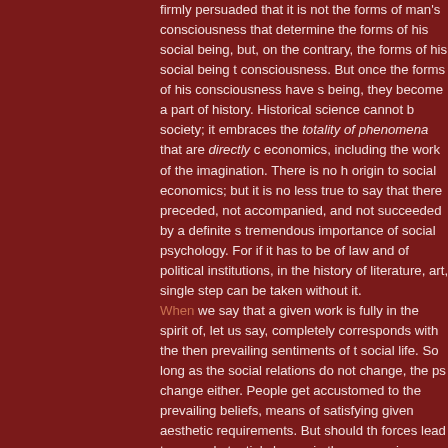firmly persuaded that it is not the forms of man's consciousness that determine the forms of his social being, but, on the contrary, the forms of his social being that determine the forms of his consciousness. But once the forms of his consciousness have settled into the forms of his social being, they become a part of history. Historical science cannot be limited to a history of society; it embraces the totality of phenomena that are directly or indirectly connected to economics, including the work of the imagination. There is no historical phenomenon that owes its origin to social economics; but it is no less true to say that there has been no social change not preceded, not accompanied, and not succeeded by a definite state of social psychology. Hence the tremendous importance of social psychology. For if it has to be reckoned with in the history of law and of political institutions, in the history of literature, art, and philosophy, not a single step can be taken without it. When we say that a given work is fully in the spirit of, let us say, a given epoch, we mean that it completely corresponds with the then prevailing sentiments of the educated part of that society in social life. So long as the social relations do not change, the psychology of society will not change either. People get accustomed to the prevailing beliefs, and look upon them as the best means of satisfying given aesthetic requirements. But should the development of the productive forces lead to any substantial change in the economic structure of society, and therefore, in consequence, in the reciprocal relations of the social classes, then the psychology of society will also change, and with it the "spirit of the times" and the "national character". This change will be manifested in the appearance of new religious beliefs or new philosophical systems, or new trends in art or new aesthetic requirements. Another thing to be borne in mind, in Labriola's opinion, is that the role in history is often played by the survivals of concepts and trends inherited from the past, which are preserved only by tradition. Furthermore, ideologies are also influenced